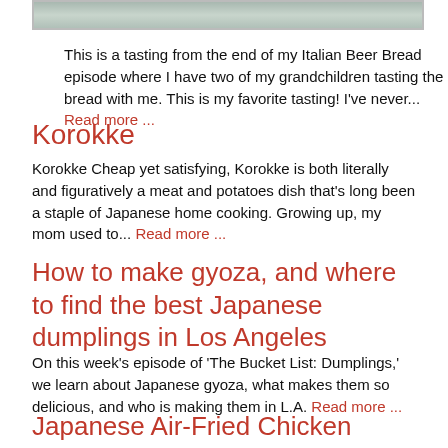[Figure (photo): Partial photo strip showing a food tasting scene at the top of the page]
This is a tasting from the end of my Italian Beer Bread episode where I have two of my grandchildren tasting the bread with me. This is my favorite tasting! I've never... Read more ...
Korokke
Korokke Cheap yet satisfying, Korokke is both literally and figuratively a meat and potatoes dish that's long been a staple of Japanese home cooking. Growing up, my mom used to... Read more ...
How to make gyoza, and where to find the best Japanese dumplings in Los Angeles
On this week's episode of 'The Bucket List: Dumplings,' we learn about Japanese gyoza, what makes them so delicious, and who is making them in L.A. Read more ...
Japanese Air-Fried Chicken Karaange